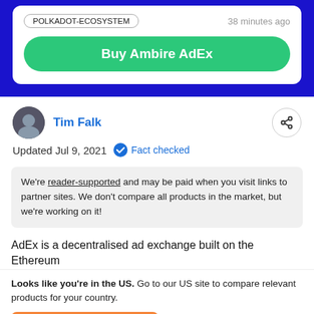POLKADOT-ECOSYSTEM
38 minutes ago
Buy Ambire AdEx
Tim Falk
Updated Jul 9, 2021    Fact checked
We're reader-supported and may be paid when you visit links to partner sites. We don't compare all products in the market, but we're working on it!
AdEx is a decentralised ad exchange built on the Ethereum
Looks like you're in the US. Go to our US site to compare relevant products for your country.
Go to Finder US
No, stay on this page